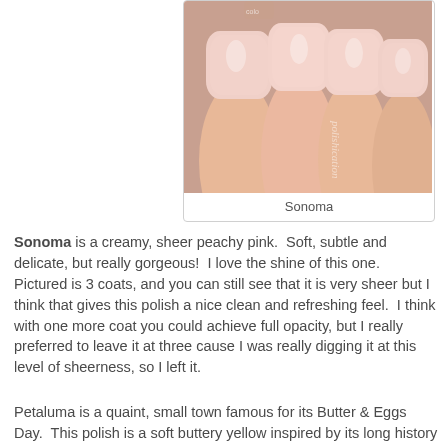[Figure (photo): Close-up photo of fingernails painted with a sheer peachy pink nail polish called Sonoma, with a nail polish bottle visible at the top and a watermark reading 'polishication']
Sonoma
Sonoma is a creamy, sheer peachy pink.  Soft, subtle and delicate, but really gorgeous!  I love the shine of this one.  Pictured is 3 coats, and you can still see that it is very sheer but I think that gives this polish a nice clean and refreshing feel.  I think with one more coat you could achieve full opacity, but I really preferred to leave it at three cause I was really digging it at this level of sheerness, so I left it.
Petaluma is a quaint, small town famous for its Butter & Eggs Day.  This polish is a soft buttery yellow inspired by its long history of poultry farming.